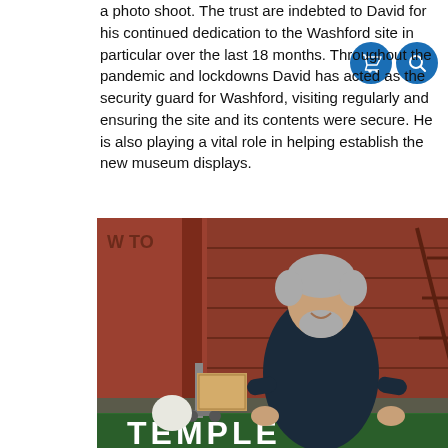a photo shoot. The trust are indebted to David for his continued dedication to the Washford site in particular over the last 18 months. Throughout the pandemic and lockdowns David has acted as the security guard for Washford, visiting regularly and ensuring the site and its contents were secure. He is also playing a vital role in helping establish the new museum displays.
[Figure (photo): A man with grey hair and beard wearing a dark navy boiler suit, standing in front of red railway wagons, holding a large green station sign reading 'TEMPLE']